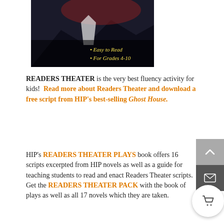[Figure (photo): Book cover image showing a dark dramatic scene with text overlays '• Easy to Read' and '• For Grades 4-10' in yellow italic font on a dark background.]
READERS THEATER is the very best fluency activity for kids!  Read more about Readers Theater and download a free script from HIP's best-selling Ghost House.
HIP's READERS THEATER PLAYS book offers 16 scripts excerpted from HIP novels as well as a guide for teaching students to read and enact Readers Theater scripts.  Get the READERS THEATER PACK with the book of plays as well as all 17 novels which they are taken.